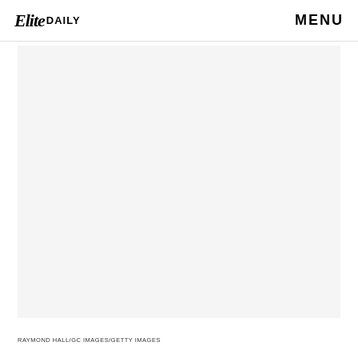Elite DAILY  MENU
[Figure (photo): Large light gray placeholder image area representing a photo (content not visible)]
RAYMOND HALL/GC IMAGES/GETTY IMAGES